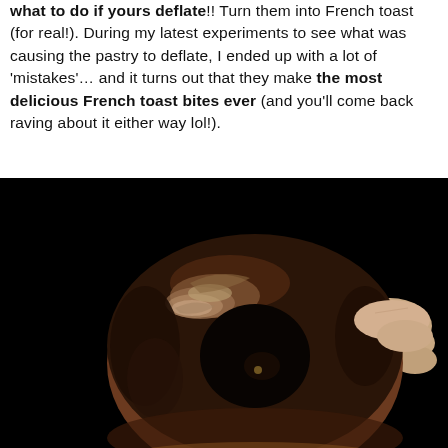what to do if yours deflate!! Turn them into French toast (for real!). During my latest experiments to see what was causing the pastry to deflate, I ended up with a lot of 'mistakes'… and it turns out that they make the most delicious French toast bites ever (and you'll come back raving about it either way lol!).
[Figure (photo): A chocolate-glazed donut with a shiny dark brown glaze being held by a hand against a black background. The donut is ring-shaped and the glaze reflects light prominently.]